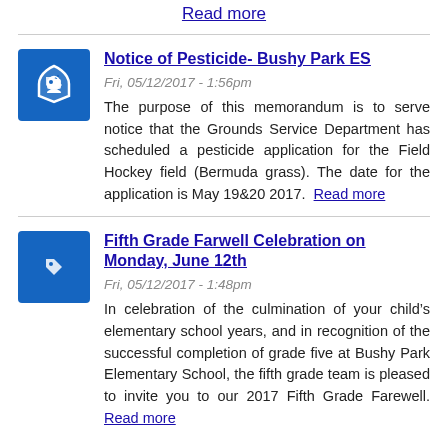Read more
Notice of Pesticide- Bushy Park ES
Fri, 05/12/2017 - 1:56pm
The purpose of this memorandum is to serve notice that the Grounds Service Department has scheduled a pesticide application for the Field Hockey field (Bermuda grass). The date for the application is May 19&20 2017.  Read more
Fifth Grade Farwell Celebration on Monday, June 12th
Fri, 05/12/2017 - 1:48pm
In celebration of the culmination of your child's elementary school years, and in recognition of the successful completion of grade five at Bushy Park Elementary School, the fifth grade team is pleased to invite you to our 2017 Fifth Grade Farewell.  Read more